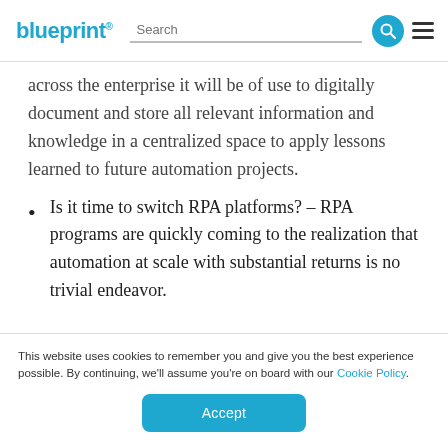blueprint | Search
across the enterprise it will be of use to digitally document and store all relevant information and knowledge in a centralized space to apply lessons learned to future automation projects.
Is it time to switch RPA platforms? – RPA programs are quickly coming to the realization that automation at scale with substantial returns is no trivial endeavor.
This website uses cookies to remember you and give you the best experience possible. By continuing, we'll assume you're on board with our Cookie Policy.